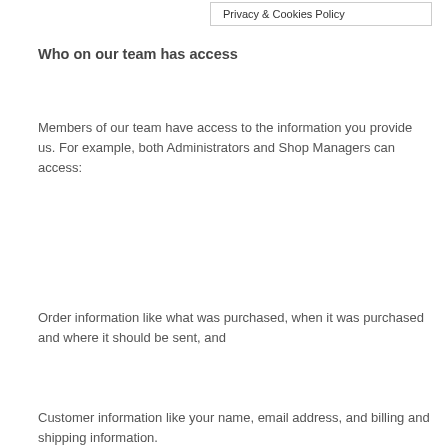Privacy & Cookies Policy
Who on our team has access
Members of our team have access to the information you provide us. For example, both Administrators and Shop Managers can access:
Order information like what was purchased, when it was purchased and where it should be sent, and
Customer information like your name, email address, and billing and shipping information.
Our team members have access to this information to help fulfil orders, process refunds and support you.
PayPal checkout